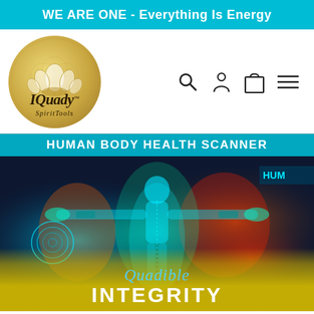WE ARE ONE - Everything Is Energy
[Figure (logo): IQuady SpiritTools circular gold logo with lotus flower motif and flower-of-life geometric background pattern]
[Figure (screenshot): Navigation icons: search magnifying glass, user/person icon, shopping bag/cart icon, and hamburger menu icon]
[Figure (photo): Human Body Health Scanner product image showing a glowing cyan human figure in an X-ray/thermal imaging style with arms outstretched. Text overlays: HUMAN BODY HEALTH SCANNER at top, Quadible and INTEGRITY at bottom. The figure appears against a colorful thermal background with reds, yellows, greens and blues.]